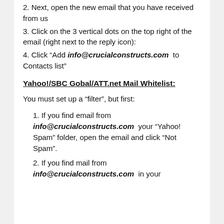2. Next, open the new email that you have received from us
3. Click on the 3 vertical dots on the top right of the email (right next to the reply icon):
4. Click “Add info@crucialconstructs.com to Contacts list”
Yahoo!/SBC Gobal/ATT.net Mail Whitelist:
You must set up a “filter”, but first:
1. If you find email from info@crucialconstructs.com your “Yahoo! Spam” folder, open the email and click “Not Spam”.
2. If you find mail from info@crucialconstructs.com in your “Blocked addresses” list, click “Remove” and then